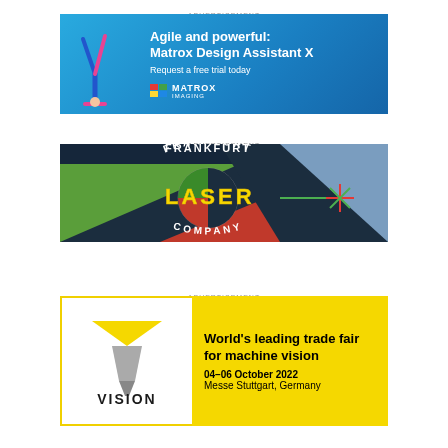ADVERTISEMENT
[Figure (illustration): Matrox Imaging advertisement with blue gradient background, gymnast doing handstand, text: Agile and powerful: Matrox Design Assistant X, Request a free trial today, Matrox Imaging logo]
ADVERTISEMENT
[Figure (logo): Frankfurt Laser Company advertisement with dark background, geometric colored sections, FRANKFURT LASER COMPANY text with laser beam graphic]
ADVERTISEMENT
[Figure (illustration): VISION trade fair advertisement: World's leading trade fair for machine vision, 04-06 October 2022, Messe Stuttgart, Germany, Vision logo with yellow triangle]